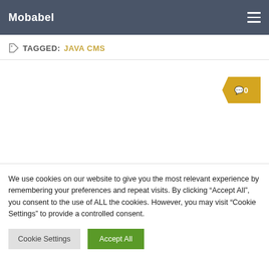Mobabel
TAGGED: JAVA CMS
[Figure (other): Comment badge showing 0 comments in a gold arrow/chevron shape]
We use cookies on our website to give you the most relevant experience by remembering your preferences and repeat visits. By clicking “Accept All”, you consent to the use of ALL the cookies. However, you may visit “Cookie Settings” to provide a controlled consent.
Cookie Settings   Accept All